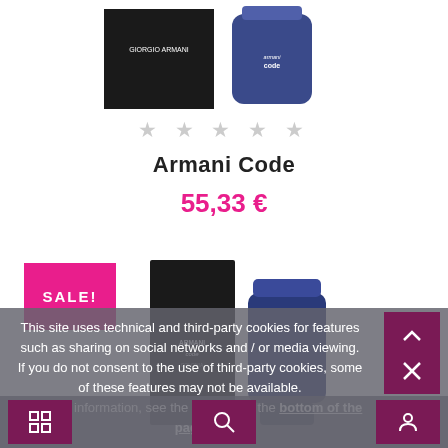[Figure (photo): Two Armani Code perfume bottles/boxes at the top of the page]
★ ★ ★ ★ ★
Armani Code
55,33 €
[Figure (photo): SALE! badge and two Armani Code Colonia perfume bottles]
This site uses technical and third-party cookies for features such as sharing on social networks and / or media viewing. If you do not consent to the use of third-party cookies, some of these features may not be available. For more information, see the sections at the bottom of the page